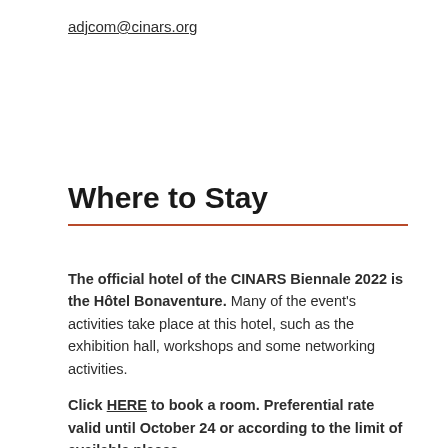adjcom@cinars.org
Where to Stay
The official hotel of the CINARS Biennale 2022 is the Hôtel Bonaventure. Many of the event's activities take place at this hotel, such as the exhibition hall, workshops and some networking activities.

Click HERE to book a room. Preferential rate valid until October 24 or according to the limit of available places.

Reservations can also be made by phone by